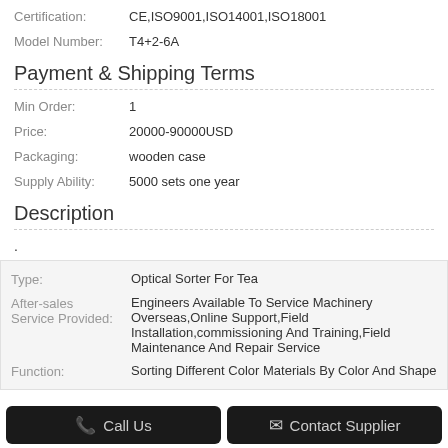Certification: CE,ISO9001,ISO14001,ISO18001
Model Number: T4+2-6A
Payment & Shipping Terms
Min Order: 1
Price: 20000-90000USD
Packaging: wooden case
Supply Ability: 5000 sets one year
Description
.
| Type: | Optical Sorter For Tea |
| After-sales Service Provided: | Engineers Available To Service Machinery Overseas,Online Support,Field Installation,commissioning And Training,Field Maintenance And Repair Service |
| Function: | Sorting Different Color Materials By Color And Shape |
Call Us   Contact Supplier